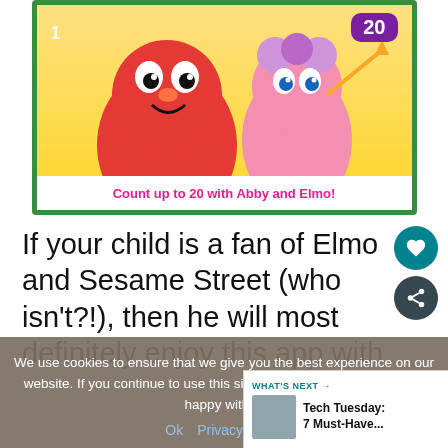[Figure (screenshot): App screenshot showing Elmo and Abby Cadabby characters on a yellow background with green border, number '20' badge in purple, caption 'Count up to 20 with Abby and Elmo!' in pink bold text on white band at bottom]
If your child is a fan of Elmo and Sesame Street (who isn't?!), then he will most definitely enjoy this app with songs and videos that help teach how to count. Along with learning by tracing and having
We use cookies to ensure that we give you the best experience on our website. If you continue to use this site we will assume that you are happy with it.
Ok   Privacy policy
WHAT'S NEXT → Tech Tuesday: 7 Must-Have...